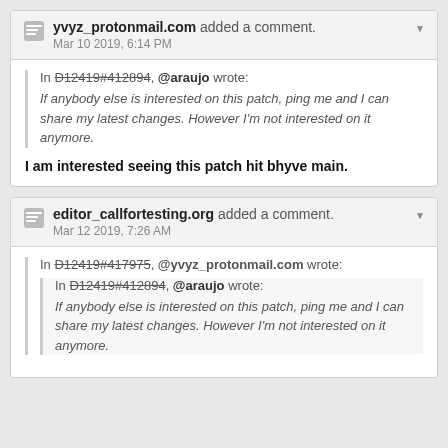yvyz_protonmail.com added a comment. Mar 10 2019, 6:14 PM
In D12419#412894, @araujo wrote: If anybody else is interested on this patch, ping me and I can share my latest changes. However I'm not interested on it anymore.
I am interested seeing this patch hit bhyve main.
editor_callfortesting.org added a comment. Mar 12 2019, 7:26 AM
In D12419#417975, @yvyz_protonmail.com wrote: In D12419#412894, @araujo wrote: If anybody else is interested on this patch, ping me and I can share my latest changes. However I'm not interested on it anymore.